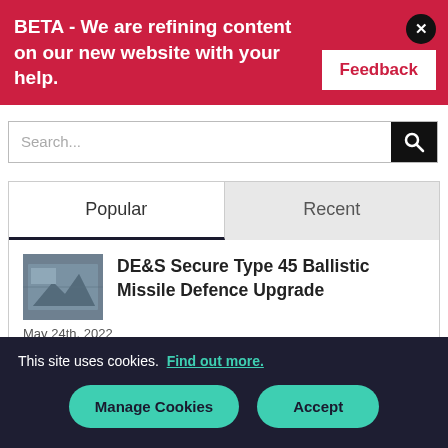BETA - We are refining content on our new website with your help.
Feedback
Search...
Popular
Recent
DE&S Secure Type 45 Ballistic Missile Defence Upgrade
May 24th, 2022
This site uses cookies. Find out more.
Manage Cookies
Accept